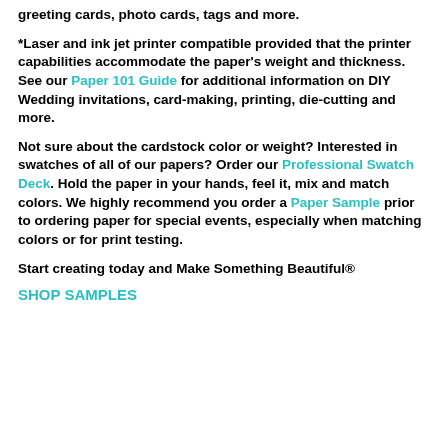greeting cards, photo cards, tags and more.
*Laser and ink jet printer compatible provided that the printer capabilities accommodate the paper's weight and thickness. See our Paper 101 Guide for additional information on DIY Wedding invitations, card-making, printing, die-cutting and more.
Not sure about the cardstock color or weight? Interested in swatches of all of our papers? Order our Professional Swatch Deck. Hold the paper in your hands, feel it, mix and match colors. We highly recommend you order a Paper Sample prior to ordering paper for special events, especially when matching colors or for print testing.
Start creating today and Make Something Beautiful®
SHOP SAMPLES